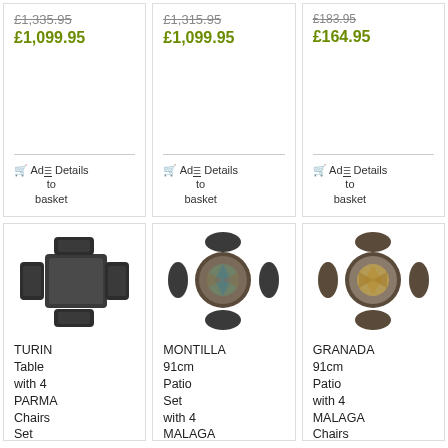£1,335.95 (strikethrough), £1,099.95 (sale)
£1,315.95 (strikethrough), £1,099.95 (sale)
£183.95 (strikethrough), £164.95 (sale)
Add to basket | Details
Add to basket | Details
Add to basket | Details
[Figure (photo): TURIN Table with 4 PARMA Chairs Set - top-down view of dark rattan table and chairs]
TURIN Table with 4 PARMA Chairs Set
[Figure (photo): MONTILLA 91cm Patio Set with 4 MALAGA chairs - top-down view with decorative mosaic table]
MONTILLA 91cm Patio Set with 4 MALAGA
[Figure (photo): GRANADA 91cm Patio with 4 MALAGA Chairs - top-down view with mosaic table]
GRANADA 91cm Patio with 4 MALAGA Chairs